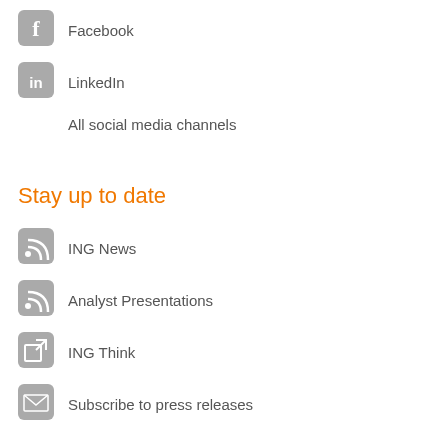Facebook
LinkedIn
All social media channels
Stay up to date
ING News
Analyst Presentations
ING Think
Subscribe to press releases
Legal Information
ING.com Security